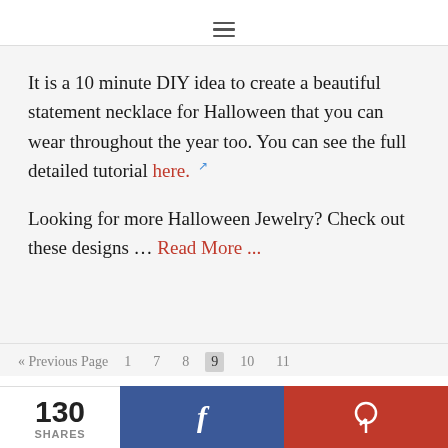☰
It is a 10 minute DIY idea to create a beautiful statement necklace for Halloween that you can wear throughout the year too. You can see the full detailed tutorial here. ↗
Looking for more Halloween Jewelry? Check out these designs … Read More ...
« Previous Page  1  7  8  9  10  11
130 SHARES